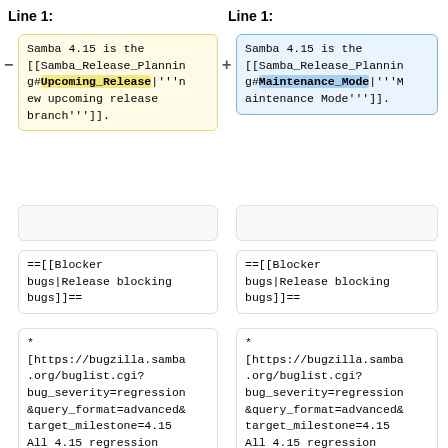Line 1:
Line 1:
Samba 4.15 is the [[Samba_Release_Planning#Upcoming_Release|'''new upcoming release branch''']].
Samba 4.15 is the [[Samba_Release_Planning#Maintenance_Mode|'''Maintenance Mode''']].
==[[Blocker bugs|Release blocking bugs]]==
==[[Blocker bugs|Release blocking bugs]]==
* [https://bugzilla.samba.org/buglist.cgi?bug_severity=regression&query_format=advanced&target_milestone=4.15 All 4.15 regression bugs]
* [https://bugzilla.samba.org/buglist.cgi?bug_severity=regression&query_format=advanced&target_milestone=4.15 All 4.15 regression bugs]